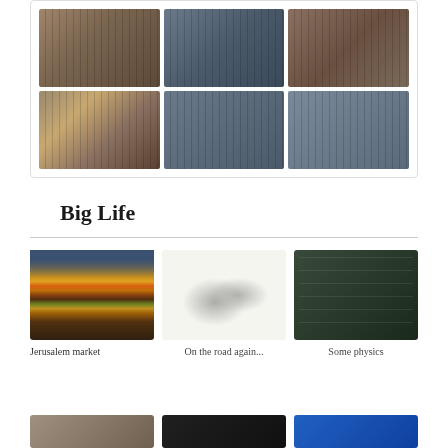[Figure (photo): Grid of 6 bookshelf/library interior photos arranged in 2 rows of 3, showing books on shelves in various library or bookstore settings]
Big Life
[Figure (photo): Jerusalem market with colorful spices and dried goods on display, people shopping in background]
Jerusalem market
[Figure (illustration): Pencil sketch drawing of two dogs, one standing and one sitting on a suitcase]
On the road again...
[Figure (photo): Blackboard with physics equations written in chalk, Maxwell's equations or similar electromagnetic equations]
Some physics
[Figure (photo): Three partial photos visible at bottom of page — warm toned, dark/black, and blue colored images]
[Figure (photo): Second of three partial photos at bottom]
[Figure (photo): Third of three partial photos at bottom, blue colored]